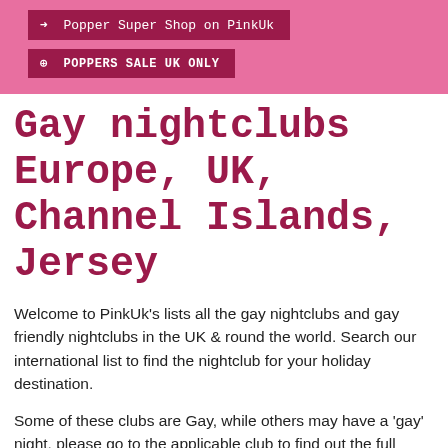[Figure (other): Pink banner with two dark pink/maroon buttons: 'Popper Super Shop on PinkUk' and 'POPPERS SALE UK ONLY']
Gay nightclubs Europe, UK, Channel Islands, Jersey
Welcome to PinkUk's lists all the gay nightclubs and gay friendly nightclubs in the UK & round the world. Search our international list to find the nightclub for your holiday destination.
Some of these clubs are Gay, while others may have a 'gay' night, please go to the applicable club to find out the full details of that club.